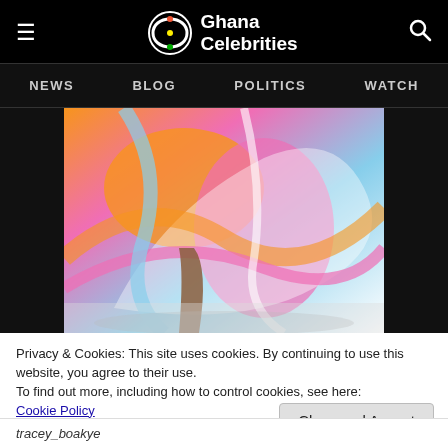Ghana Celebrities — NEWS  BLOG  POLITICS  WATCH
[Figure (photo): Close-up of a person wearing a colorful abstract-patterned dress with pink, orange, blue, and white swirls, partially visible torso and legs.]
Privacy & Cookies: This site uses cookies. By continuing to use this website, you agree to their use.
To find out more, including how to control cookies, see here:
Cookie Policy
Close and Accept
tracey_boakye